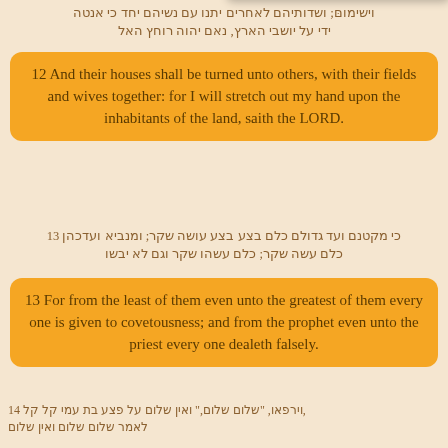[Hebrew/foreign script verse continuation line 1]; [Hebrew/foreign script verse continuation line 2]
12 And their houses shall be turned unto others, with their fields and wives together: for I will stretch out my hand upon the inhabitants of the land, saith the LORD.
13 [Hebrew/foreign script verse 13 text]
13 For from the least of them even unto the greatest of them every one is given to covetousness; and from the prophet even unto the priest every one dealeth falsely.
14 [Hebrew/foreign script verse 14 text]
14 They have healed also the hurt of the daughter of my people slightly, saying, Peace, peace; when there is
[Figure (infographic): Donate button with PayPal-style styling and payment card logos (MasterCard, Maestro, VISA, VISA, Amex, Direct Debit)]